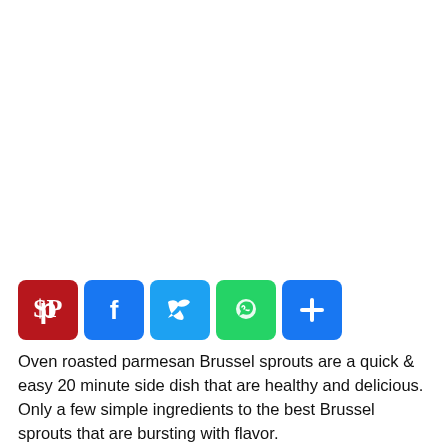[Figure (other): Large white blank space at top of page (advertisement or image placeholder area)]
[Figure (infographic): Social media sharing buttons row: Pinterest (red), Facebook (blue), Twitter (light blue), WhatsApp (green), Share/Add (blue)]
Oven roasted parmesan Brussel sprouts are a quick & easy 20 minute side dish that are healthy and delicious. Only a few simple ingredients to the best Brussel sprouts that are bursting with flavor.
[Figure (photo): Partial photo of a white decorative plate with Brussels sprouts dish, cropped at bottom of page]